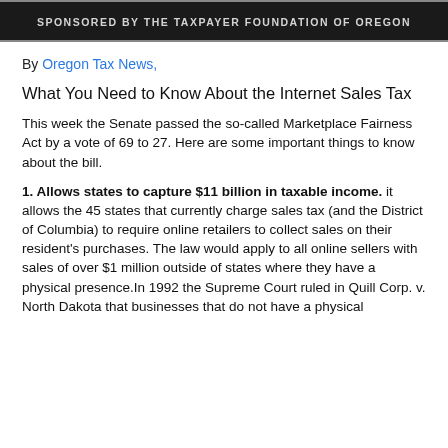[Figure (other): Dark banner with text 'SPONSORED BY THE TAXPAYER FOUNDATION OF OREGON']
By Oregon Tax News,
What You Need to Know About the Internet Sales Tax
This week the Senate passed the so-called Marketplace Fairness Act by a vote of 69 to 27. Here are some important things to know about the bill.
1. Allows states to capture $11 billion in taxable income. it allows the 45 states that currently charge sales tax (and the District of Columbia) to require online retailers to collect sales on their resident's purchases. The law would apply to all online sellers with sales of over $1 million outside of states where they have a physical presence.In 1992 the Supreme Court ruled in Quill Corp. v. North Dakota that businesses that do not have a physical